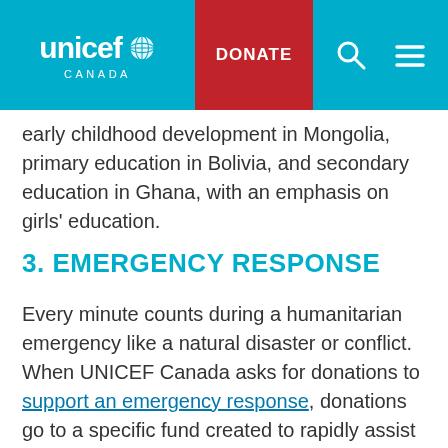UNICEF CANADA — DONATE navigation bar
early childhood development in Mongolia, primary education in Bolivia, and secondary education in Ghana, with an emphasis on girls' education.
3. EMERGENCY RESPONSE
Every minute counts during a humanitarian emergency like a natural disaster or conflict. When UNICEF Canada asks for donations to support an emergency response, donations go to a specific fund created to rapidly assist children and families caught in that crisis.